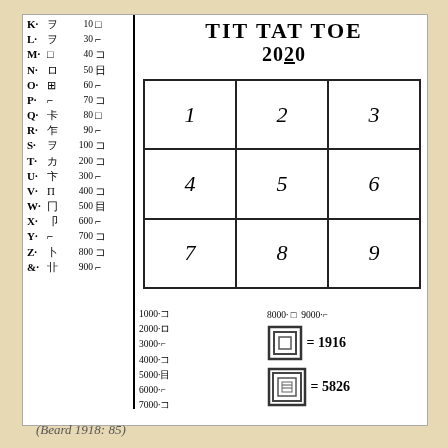[Figure (other): Chart showing letter-to-symbol encoding table on left column (K through & with symbols and numbers 10-900), TIT TAT TOE 2020 tic-tac-toe grid in top right with cells numbered 1-9, and bottom right section showing thousands encodings (1000-7000, 8000, 9000) with example symbols for 1916 and 5826.]
(Beard 1918: 85)